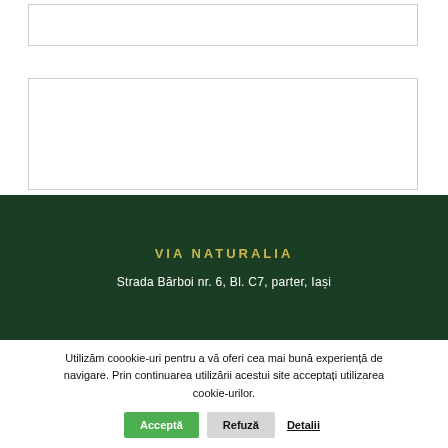[Figure (other): Two empty form input fields with light gray borders on white background]
VIA NATURALIA
Strada Bărboi nr. 6, Bl. C7, parter, Iași
Utilizăm coookie-uri pentru a vă oferi cea mai bună experiență de navigare. Prin continuarea utilizării acestui site acceptați utilizarea cookie-urilor.
Acceptă  Refuză  Detalii